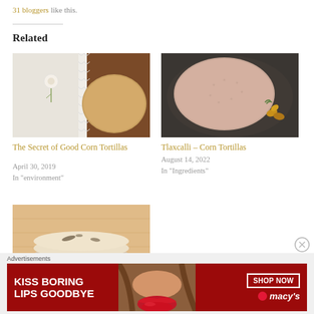31 bloggers like this.
Related
[Figure (photo): A corn tortilla with lace and decorative cloth]
[Figure (photo): A round pink-beige flatbread on a dark pan with nuts]
The Secret of Good Corn Tortillas
April 30, 2019
In "environment"
Tlaxcalli – Corn Tortillas
August 14, 2022
In "Ingredients"
[Figure (photo): Stack of griddled corn tortillas on a patterned surface]
Advertisements
[Figure (other): Macy's advertisement banner: KISS BORING LIPS GOODBYE – SHOP NOW]